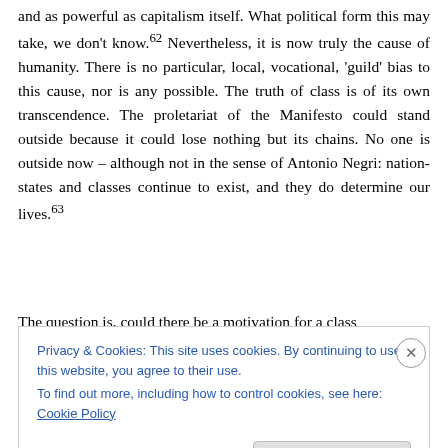and as powerful as capitalism itself. What political form this may take, we don't know.62 Nevertheless, it is now truly the cause of humanity. There is no particular, local, vocational, 'guild' bias to this cause, nor is any possible. The truth of class is of its own transcendence. The proletariat of the Manifesto could stand outside because it could lose nothing but its chains. No one is outside now – although not in the sense of Antonio Negri: nation-states and classes continue to exist, and they do determine our lives.63
The question is, could there be a motivation for a class
Privacy & Cookies: This site uses cookies. By continuing to use this website, you agree to their use.
To find out more, including how to control cookies, see here: Cookie Policy
Close and accept